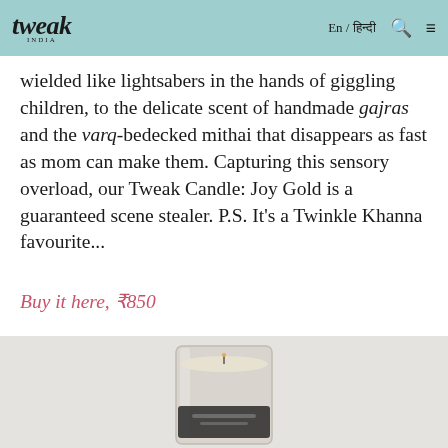tweak En / हिन्दी 🔍 ≡
wielded like lightsabers in the hands of giggling children, to the delicate scent of handmade gajras and the varq-bedecked mithai that disappears as fast as mom can make them. Capturing this sensory overload, our Tweak Candle: Joy Gold is a guaranteed scene stealer. P.S. It's a Twinkle Khanna favourite...
Buy it here, ₹850
[Figure (photo): A glass candle vessel with a dark label, photographed on a light grey background — the Tweak Candle: Joy Gold product shot.]